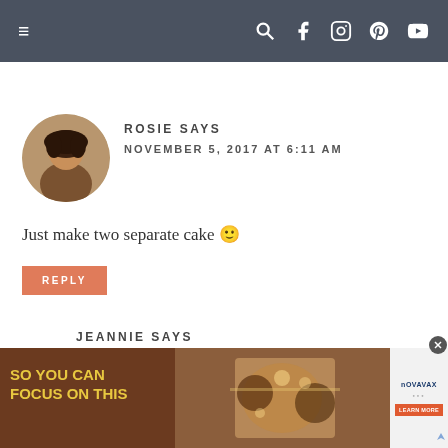Navigation bar with hamburger menu and social icons
ROSIE SAYS
NOVEMBER 5, 2017 AT  6:11 AM
Just make two separate cake 🙂
REPLY
JEANNIE SAYS
[Figure (photo): Advertisement banner: SO YOU CAN FOCUS ON THIS with photo of people dining, and Novavax logo with LEARN MORE button]